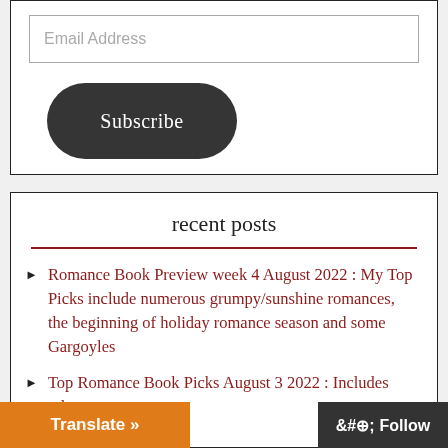Email Address
Subscribe
recent posts
Romance Book Preview week 4 August 2022 : My Top Picks include numerous grumpy/sunshine romances, the beginning of holiday romance season and some Gargoyles
Top Romance Book Picks August 3 2022 : Includes releases